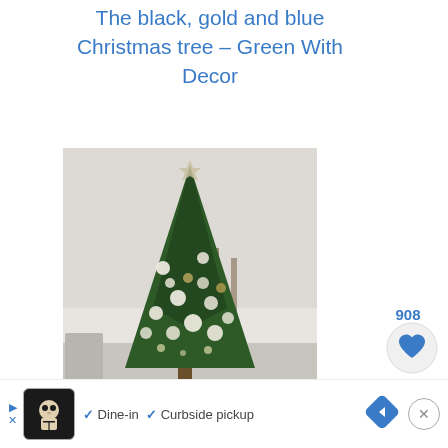The black, gold and blue Christmas tree – Green With Decor
[Figure (photo): A decorated Christmas tree with white and gold ornaments, a star topper, standing in a room with white walls.]
908
[Figure (other): Heart (like) button in a circular grey button]
[Figure (other): Advertisement bar with restaurant icon, dine-in and curbside pickup checkmarks, navigation arrow, and close button]